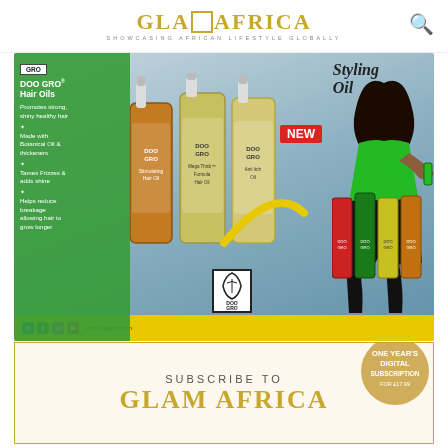GLAM AFRICA — SHOWCASING AFRICAN LIFESTYLE GLOBALLY
[Figure (photo): DOO GRO Hair Oils advertisement showing product bottles, a woman with curly hair in a green outfit, product benefits listed on green panel, yellow bottom bar with social media icons and website, NEW styling oil badge]
[Figure (infographic): Subscribe to Glam Africa section with gold border and medallion badge reading ONE YEAR'S DIGITAL SUBSCRIPTION FOR £17.99]